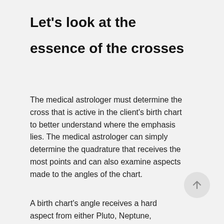Let's look at the essence of the crosses
The medical astrologer must determine the cross that is active in the client's birth chart to better understand where the emphasis lies. The medical astrologer can simply determine the quadrature that receives the most points and can also examine aspects made to the angles of the chart.
A birth chart's angle receives a hard aspect from either Pluto, Neptune,